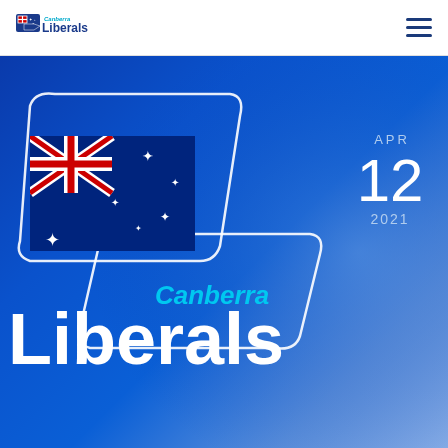Canberra Liberals — navigation header with logo and hamburger menu
[Figure (logo): Canberra Liberals hero banner with stylized 'b' logo shape containing Australian flag, 'Canberra Liberals' text, and date APR 12 2021]